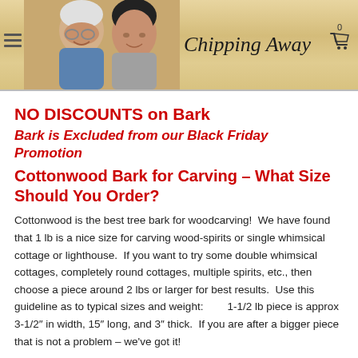Chipping Away
NO DISCOUNTS on Bark
Bark is Excluded from our Black Friday Promotion
Cottonwood Bark for Carving – What Size Should You Order?
Cottonwood is the best tree bark for woodcarving!  We have found that 1 lb is a nice size for carving wood-spirits or single whimsical cottage or lighthouse.  If you want to try some double whimsical cottages, completely round cottages, multiple spirits, etc., then choose a piece around 2 lbs or larger for best results.  Use this guideline as to typical sizes and weight:        1-1/2 lb piece is approx 3-1/2" in width, 15" long, and 3" thick.  If you are after a bigger piece that is not a problem – we've got it!